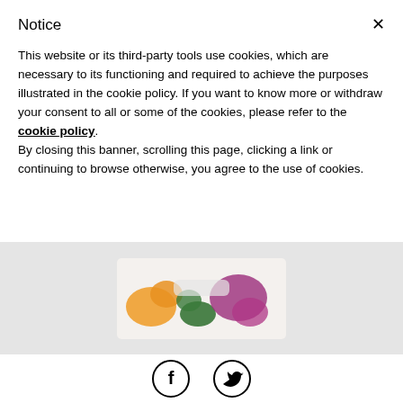Notice
This website or its third-party tools use cookies, which are necessary to its functioning and required to achieve the purposes illustrated in the cookie policy. If you want to know more or withdraw your consent to all or some of the cookies, please refer to the cookie policy. By closing this banner, scrolling this page, clicking a link or continuing to browse otherwise, you agree to the use of cookies.
[Figure (photo): Partially visible product photo showing colorful vegetables or food items in packaging against a light grey background]
[Figure (infographic): Social media share icons: Facebook (f) and Twitter (bird) circular icons]